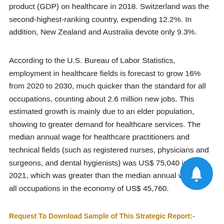product (GDP) on healthcare in 2018. Switzerland was the second-highest-ranking country, expending 12.2%. In addition, New Zealand and Australia devote only 9.3%.
According to the U.S. Bureau of Labor Statistics, employment in healthcare fields is forecast to grow 16% from 2020 to 2030, much quicker than the standard for all occupations, counting about 2.6 million new jobs. This estimated growth is mainly due to an elder population, showing to greater demand for healthcare services. The median annual wage for healthcare practitioners and technical fields (such as registered nurses, physicians and surgeons, and dental hygienists) was US$ 75,040 in May 2021, which was greater than the median annual wage for all occupations in the economy of US$ 45,760.
Request To Download Sample of This Strategic Report:-